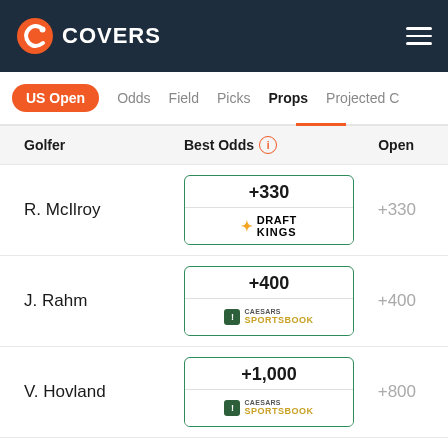[Figure (logo): Covers website logo and navigation header with dark navy background]
US Open | Odds | Field | Picks | Props | Projected (cut off)
| Golfer | Best Odds | Open |
| --- | --- | --- |
| R. McIlroy | +330 (DraftKings) | +330 |
| J. Rahm | +400 (Caesars Sportsbook) | +400 |
| V. Hovland | +1,000 (Caesars Sportsbook) | +800 |
| S. Lowry | +2,500 (Caesars Sportsbook) | +750 |
| J. Rose | +3,300 (cut off) | +1,600 |